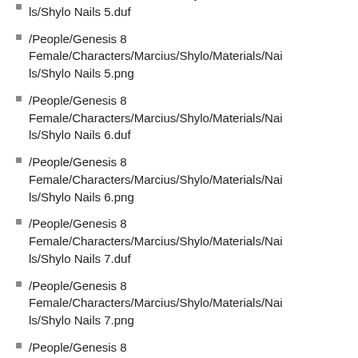/People/Genesis 8 Female/Characters/Marcius/Shylo/Materials/Nails/Shylo Nails 5.duf
/People/Genesis 8 Female/Characters/Marcius/Shylo/Materials/Nails/Shylo Nails 5.png
/People/Genesis 8 Female/Characters/Marcius/Shylo/Materials/Nails/Shylo Nails 6.duf
/People/Genesis 8 Female/Characters/Marcius/Shylo/Materials/Nails/Shylo Nails 6.png
/People/Genesis 8 Female/Characters/Marcius/Shylo/Materials/Nails/Shylo Nails 7.duf
/People/Genesis 8 Female/Characters/Marcius/Shylo/Materials/Nails/Shylo Nails 7.png
/People/Genesis 8 Female/Characters/Marcius/Shylo/Materials/Nails/Shylo Nails Default.duf
/People/Genesis 8